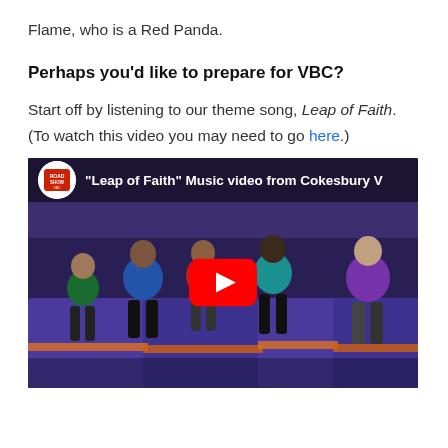Flame, who is a Red Panda.
Perhaps you'd like to prepare for VBC?
Start off by listening to our theme song, Leap of Faith.   (To watch this video you may need to go here.)
[Figure (screenshot): YouTube video thumbnail for 'Leap of Faith' Music video from Cokesbury VBC, showing children dancing on trampolines with a red YouTube play button overlay.]